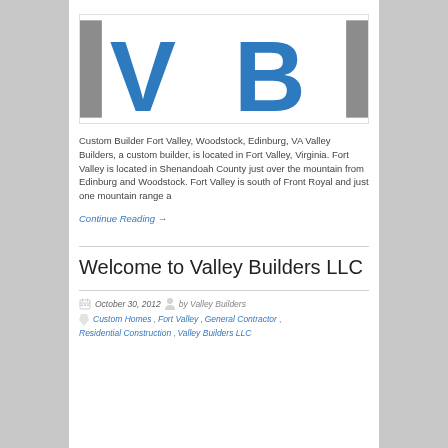[Figure (logo): Valley Builders LLC logo with large 'VB' letters in blue, flanked by gray vertical bars on white background]
Custom Builder Fort Valley, Woodstock, Edinburg, VA Valley Builders, a custom builder, is located in Fort Valley, Virginia. Fort Valley is located in Shenandoah County just over the mountain from Edinburg and Woodstock. Fort Valley is south of Front Royal and just one mountain range a
Continue Reading →
Welcome to Valley Builders LLC
October 30, 2012  by Valley Builders
Custom Homes, Fort Valley, General Contractor, Residential Construction, Valley Builders LLC